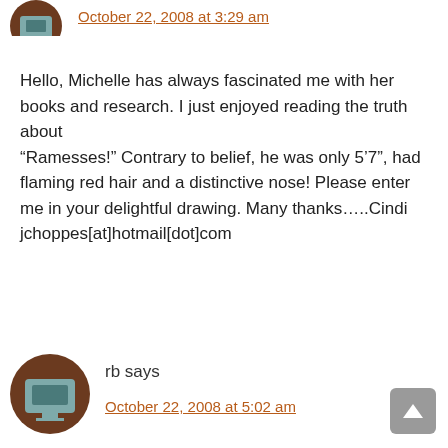[Figure (illustration): User avatar icon — brown circle with teal/grey computer/monitor icon, partially cropped at top]
October 22, 2008 at 3:29 am
Hello, Michelle has always fascinated me with her books and research. I just enjoyed reading the truth about “Ramesses!” Contrary to belief, he was only 5’7”, had flaming red hair and a distinctive nose! Please enter me in your delightful drawing. Many thanks…..Cindi jchoppes[at]hotmail[dot]com
[Figure (illustration): User avatar icon — brown circle with teal/grey computer/monitor icon for user rb]
rb says
October 22, 2008 at 5:02 am